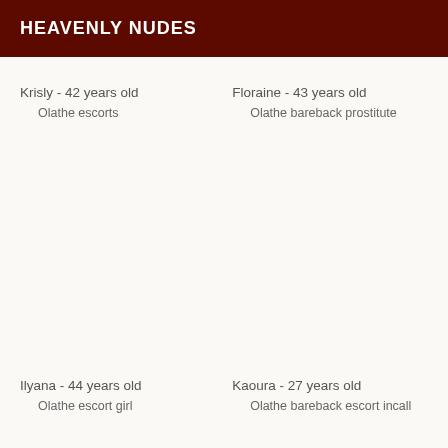HEAVENLY NUDES
Krisly - 42 years old
Olathe escorts
Floraine - 43 years old
Olathe bareback prostitute
Ilyana - 44 years old
Olathe escort girl
Kaoura - 27 years old
Olathe bareback escort incall